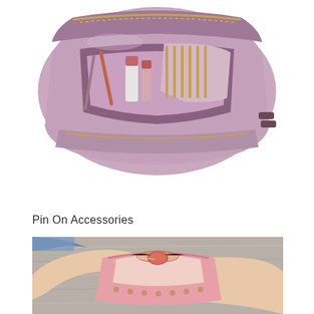[Figure (photo): Open purple/mauve cosmetic organizer bag with two zip compartments, showing interior with spiral notebook, lipstick, pencil, and cosmetic items. Gold-tone zipper hardware. Viewed from above at angle on white background.]
Pin On Accessories
[Figure (photo): Person's hands holding open a pink cosmetic organizer bag showing the interior zip closure with rose-gold hardware, against a grey textured background. Person wearing blue jeans visible at edge.]